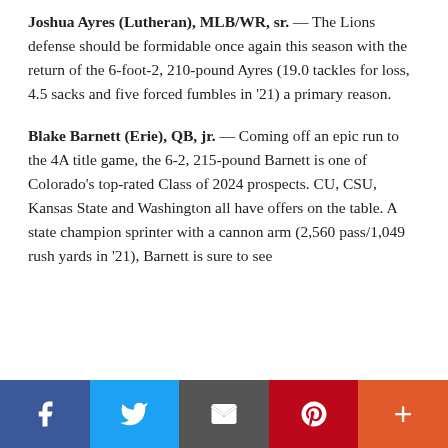Joshua Ayres (Lutheran), MLB/WR, sr. — The Lions defense should be formidable once again this season with the return of the 6-foot-2, 210-pound Ayres (19.0 tackles for loss, 4.5 sacks and five forced fumbles in '21) a primary reason.
Blake Barnett (Erie), QB, jr. — Coming off an epic run to the 4A title game, the 6-2, 215-pound Barnett is one of Colorado's top-rated Class of 2024 prospects. CU, CSU, Kansas State and Washington all have offers on the table. A state champion sprinter with a cannon arm (2,560 pass/1,049 rush yards in '21), Barnett is sure to see…